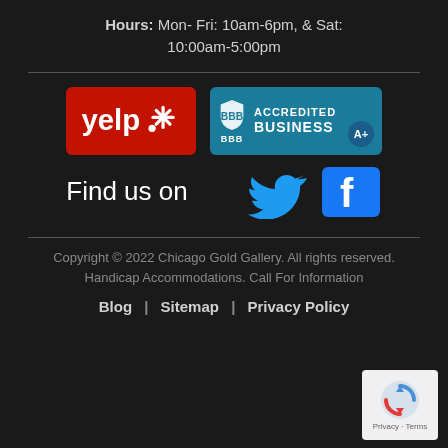Hours: Mon- Fri: 10am-6pm, & Sat: 10:00am-5:00pm
[Figure (logo): Yelp logo badge (red background with white Yelp text and burst icon) and BBB Accredited Business A+ badge (teal background with shield and text)]
Find us on
[Figure (logo): Twitter bird icon (blue) and Facebook F icon (blue square)]
Copyright © 2022 Chicago Gold Gallery. All rights reserved. Handicap Accommodations. Call For Information Blog | Sitemap | Privacy Policy
[Figure (logo): Google reCAPTCHA badge with Privacy - Terms text]